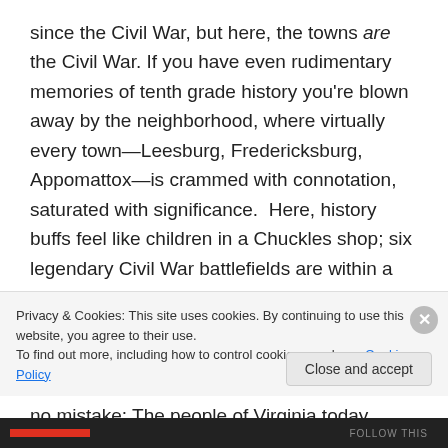since the Civil War, but here, the towns are the Civil War. If you have even rudimentary memories of tenth grade history you're blown away by the neighborhood, where virtually every town—Leesburg, Fredericksburg, Appomattox—is crammed with connotation, saturated with significance. Here, history buffs feel like children in a Chuckles shop; six legendary Civil War battlefields are within a few miles of Jenni's farm. The only other place I've been where so much violent history is coagulated into such a small plot of land is Normandy, France. And like Normandy, make no mistake: The people of Virginia today
Privacy & Cookies: This site uses cookies. By continuing to use this website, you agree to their use. To find out more, including how to control cookies, see here: Cookie Policy
Close and accept